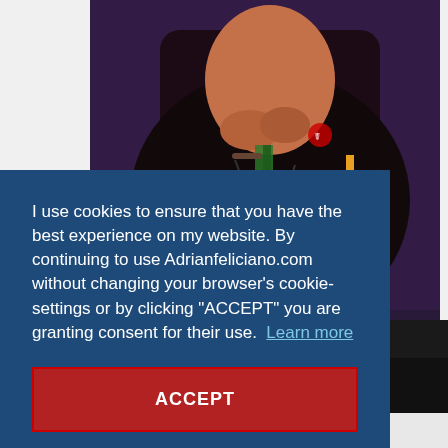[Figure (photo): Photo of a person wearing a dark hoodie with medals/badges, hands clasped near face, against a purple/dark background. Website screenshot with cookie consent overlay.]
I use cookies to ensure that you have the best experience on my website. By continuing to use Adrianfeliciano.com without changing your browser's cookie-settings or by clicking "ACCEPT" you are granting consent for their use. Learn more
ACCEPT